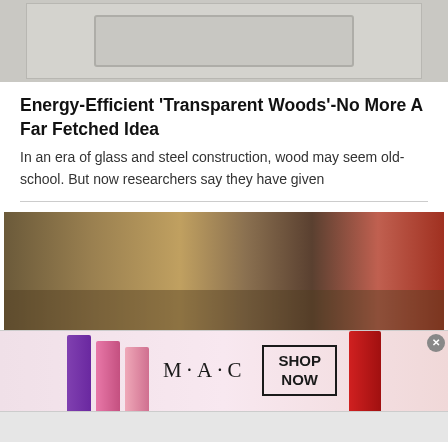[Figure (photo): Top portion of an article image, partially cropped, showing a light gray/beige surface with rectangles and a small dark object in the upper left corner]
Energy-Efficient ‘Transparent Woods’-No More A Far Fetched Idea
In an era of glass and steel construction, wood may seem old-school. But now researchers say they have given
[Figure (photo): Photo of a person handling a large piece of raw wood or bark material near a waterfront area, with equipment in the background]
[Figure (photo): M·A·C cosmetics advertisement banner showing lipsticks in purple, pink, and red colors with the M·A·C logo and a SHOP NOW call-to-action box]